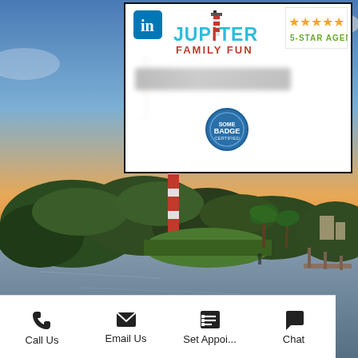[Figure (screenshot): Mobile app screenshot showing a real estate agent profile page. Top section has a white card with LinkedIn logo, Jupiter Family Fun logo, 5-Star Agent badge, a blurred name bar, and a circular blue badge/seal. Below is a scenic photo of Jupiter, Florida with a lighthouse at sunset over water. Bottom toolbar shows: Call Us (phone icon), Email Us (envelope icon), Set Appoi... (list icon), Chat (speech bubble icon).]
Call Us
Email Us
Set Appoi...
Chat